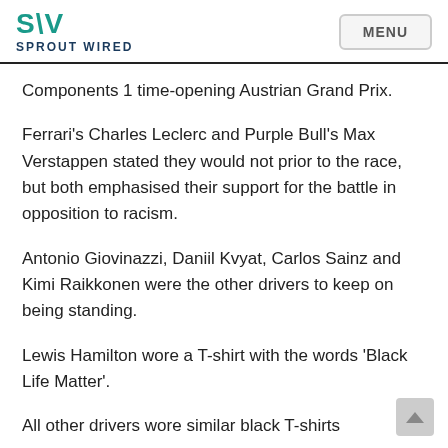SPROUT WIRED
Components 1 time-opening Austrian Grand Prix.
Ferrari’s Charles Leclerc and Purple Bull’s Max Verstappen stated they would not prior to the race, but both emphasised their support for the battle in opposition to racism.
Antonio Giovinazzi, Daniil Kvyat, Carlos Sainz and Kimi Raikkonen were the other drivers to keep on being standing.
Lewis Hamilton wore a T-shirt with the words ‘Black Life Matter’.
All other drivers wore similar black T-shirts